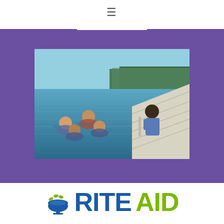≡
[Figure (photo): Group of people swimming in a lake next to a white dock. One person in a blue life vest sits on the dock while four others swim in the water, smiling toward the camera. Trees are visible in the background.]
[Figure (logo): Rite Aid logo: a blue mortar and pestle bowl with green leaf accents on the left, followed by the text RITE in dark blue bold font and AID in green bold font.]